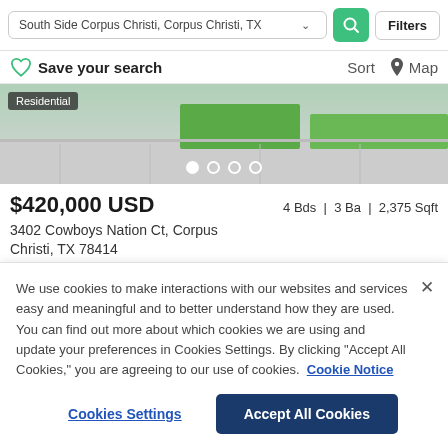South Side Corpus Christi, Corpus Christi, TX
Filters
Save your search
Sort   Map
[Figure (photo): Exterior photo of a residential property showing green lawn and paved walkway area. A 'Residential' badge is shown in the top-left. Carousel dots are visible at the bottom.]
$420,000 USD   4 Bds | 3 Ba | 2,375 Sqft
3402 Cowboys Nation Ct, Corpus Christi, TX 78414
We use cookies to make interactions with our websites and services easy and meaningful and to better understand how they are used. You can find out more about which cookies we are using and update your preferences in Cookies Settings. By clicking "Accept All Cookies," you are agreeing to our use of cookies.  Cookie Notice
Cookies Settings
Accept All Cookies